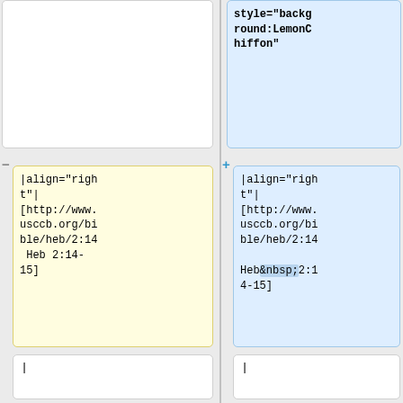[Figure (screenshot): Diff view showing two columns of code/markup content. Left column (yellow, removed) and right column (blue, added) showing wiki/HTML markup differences. Rows include: style attribute LemonChiffon, align right with URL reference to heb/2:14, pipe separator, div class hang, sup class versenum 14.]
style="background:LemonChiffon"
|align="right"|
[http://www.usccb.org/bible/heb/2:14
 Heb 2:14-15]
|align="right"|
[http://www.usccb.org/bible/heb/2:14
Heb&nbsp;2:14-15]
|
|
<div class="hang">
<div class="hang">
<sup class="versenum">14</sup>
> Now since
<sup class="versenum">14</sup>
> Now since